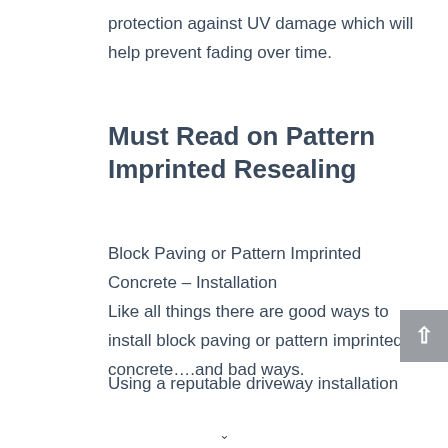protection against UV damage which will help prevent fading over time.
Must Read on Pattern Imprinted Resealing
Block Paving or Pattern Imprinted Concrete – Installation
Like all things there are good ways to install block paving or pattern imprinted concrete….and bad ways.
Using a reputable driveway installation